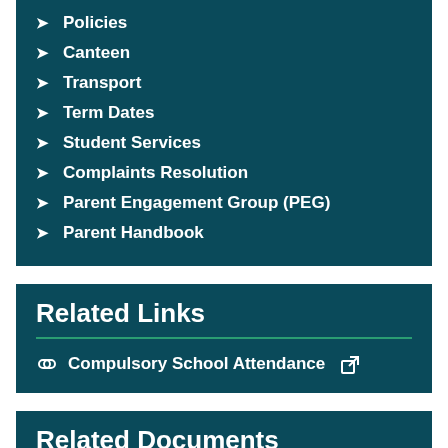Policies
Canteen
Transport
Term Dates
Student Services
Complaints Resolution
Parent Engagement Group (PEG)
Parent Handbook
Related Links
Compulsory School Attendance
Related Documents